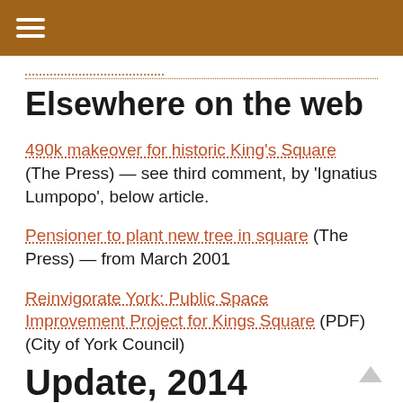☰
(truncated navigation link)
Elsewhere on the web
490k makeover for historic King's Square (The Press) — see third comment, by 'Ignatius Lumpopo', below article.
Pensioner to plant new tree in square (The Press) — from March 2001
Reinvigorate York: Public Space Improvement Project for Kings Square (PDF) (City of York Council)
Update, 2014